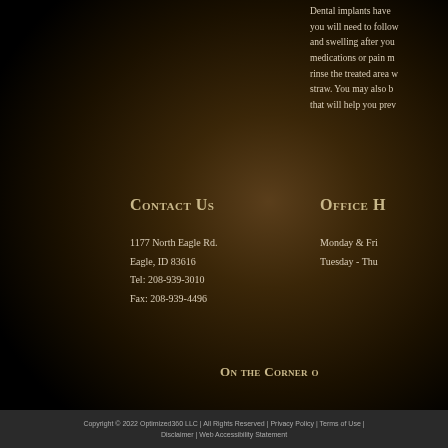Dental implants have you will need to follow and swelling after you medications or pain m rinse the treated area w straw. You may also b that will help you prev
Contact Us
1177 North Eagle Rd.
Eagle, ID 83616
Tel: 208-939-3010
Fax: 208-939-4496
Office H
Monday & Fri
Tuesday - Thu
On the Corner o
Copyright © 2022 Optimized360 LLC | All Rights Reserved | Privacy Policy | Terms of Use | Disclaimer | Web Accessibility Statement